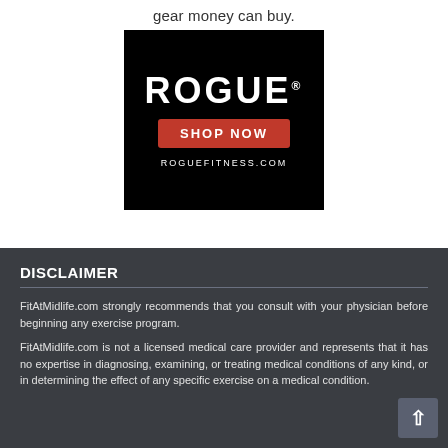gear money can buy.
[Figure (logo): Rogue Fitness advertisement on black background with ROGUE text, SHOP NOW red button, and ROGUEFITNESS.COM URL]
DISCLAIMER
FitAtMidlife.com strongly recommends that you consult with your physician before beginning any exercise program.
FitAtMidlife.com is not a licensed medical care provider and represents that it has no expertise in diagnosing, examining, or treating medical conditions of any kind, or in determining the effect of any specific exercise on a medical condition.